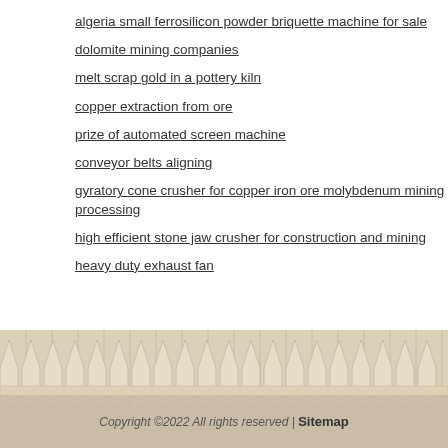algeria small ferrosilicon powder briquette machine for sale
dolomite mining companies
melt scrap gold in a pottery kiln
copper extraction from ore
prize of automated screen machine
conveyor belts aligning
gyratory cone crusher for copper iron ore molybdenum mining processing
high efficient stone jaw crusher for construction and mining
heavy duty exhaust fan
[Figure (illustration): Wooden picket fence background with light wood grain texture]
Copyright ©2022 All rights reserved | Sitemap